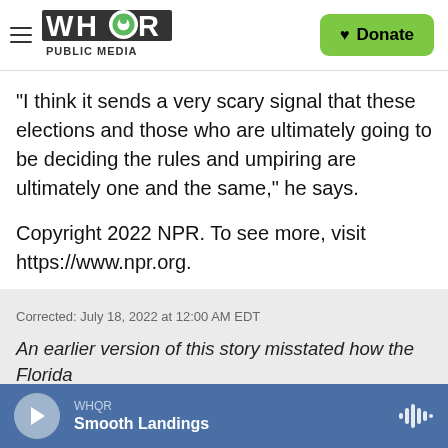WHQR PUBLIC MEDIA | Donate
"I think it sends a very scary signal that these elections and those who are ultimately going to be deciding the rules and umpiring are ultimately one and the same," he says.
Copyright 2022 NPR. To see more, visit https://www.npr.org.
Corrected: July 18, 2022 at 12:00 AM EDT
An earlier version of this story misstated how the Florida
WHQR Smooth Landings